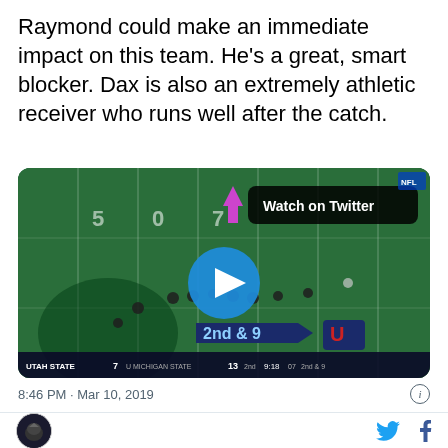Raymond could make an immediate impact on this team. He’s a great, smart blocker. Dax is also an extremely athletic receiver who runs well after the catch.
[Figure (screenshot): Embedded Twitter video player showing a football game screenshot (Utah State vs Michigan State, 2nd & 9, score 7-13) with a blue play button overlay and a 'Watch on Twitter' badge. A purple arrow points to a player on the field.]
8:46 PM · Mar 10, 2019
[Figure (logo): Circular avatar logo (dark, with a helmet icon) on the bottom bar, with Twitter bird icon and Facebook 'f' icon on the right.]